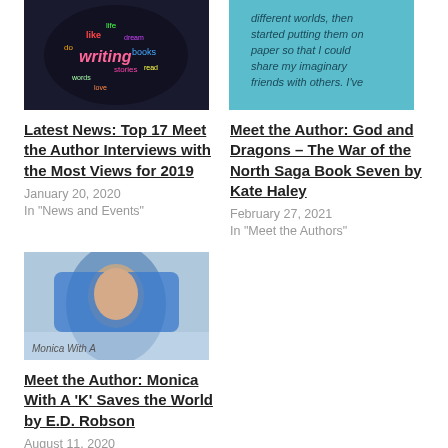[Figure (photo): Word cloud shaped like a brain/head, dark background with colorful words related to writing]
[Figure (photo): Teal/blue background with handwritten text about imaginary friends and different worlds]
Latest News: Top 17 Meet the Author Interviews with the Most Views for 2019
January 20, 2020
In "News and Events"
Meet the Author: God and Dragons – The War of the North Saga Book Seven by Kate Haley
February 27, 2021
In "Meet the Authors"
[Figure (photo): Young woman wearing a blue hood against a cloudy sky background, text overlay reads Monica With A]
Meet the Author: Monica With A 'K' Saves the World by E.D. Robson
August 11, 2020
In "Meet the Authors"